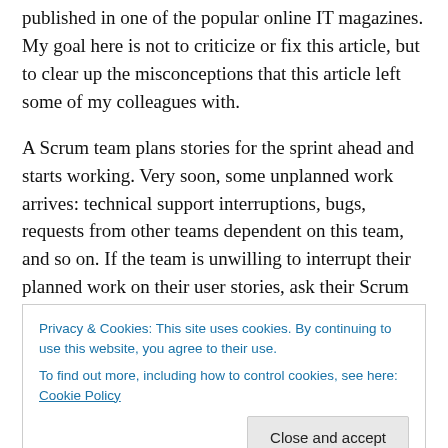published in one of the popular online IT magazines. My goal here is not to criticize or fix this article, but to clear up the misconceptions that this article left some of my colleagues with.
A Scrum team plans stories for the sprint ahead and starts working. Very soon, some unplanned work arrives: technical support interruptions, bugs, requests from other teams dependent on this team, and so on. If the team is unwilling to interrupt their planned work on their user stories, ask their Scrum Master to “protect” them, and the
Privacy & Cookies: This site uses cookies. By continuing to use this website, you agree to their use.
To find out more, including how to control cookies, see here: Cookie Policy
other stakeholders frustrated.